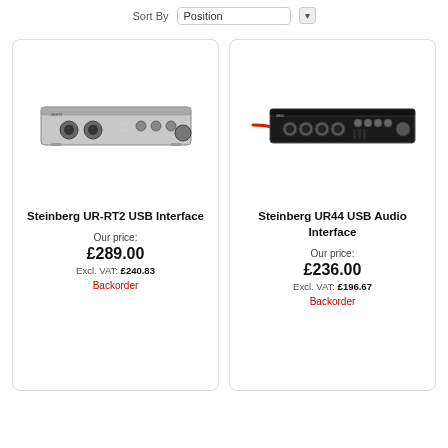Sort By  Position
[Figure (photo): Steinberg UR-RT2 USB audio interface device, front view, silver/black unit with XLR inputs and knobs]
Steinberg UR-RT2 USB Interface
Our price:
£289.00
Excl. VAT: £240.83
Backorder
[Figure (photo): Steinberg UR44 USB audio interface device, front view, black unit with multiple XLR inputs and a red cable]
Steinberg UR44 USB Audio Interface
Our price:
£236.00
Excl. VAT: £196.67
Backorder